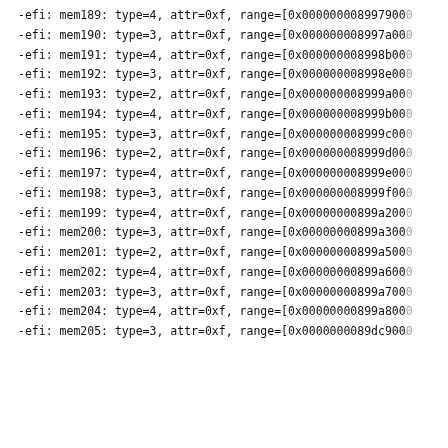-efi: mem189: type=4, attr=0xf, range=[0x000000008997900...
-efi: mem190: type=3, attr=0xf, range=[0x000000008997a00...
-efi: mem191: type=4, attr=0xf, range=[0x000000008998b00...
-efi: mem192: type=3, attr=0xf, range=[0x000000008998e00...
-efi: mem193: type=2, attr=0xf, range=[0x000000008999a00...
-efi: mem194: type=4, attr=0xf, range=[0x000000008999b00...
-efi: mem195: type=3, attr=0xf, range=[0x000000008999c00...
-efi: mem196: type=2, attr=0xf, range=[0x000000008999d00...
-efi: mem197: type=4, attr=0xf, range=[0x000000008999e00...
-efi: mem198: type=3, attr=0xf, range=[0x000000008999f00...
-efi: mem199: type=4, attr=0xf, range=[0x00000000899a200...
-efi: mem200: type=3, attr=0xf, range=[0x00000000899a300...
-efi: mem201: type=2, attr=0xf, range=[0x00000000899a500...
-efi: mem202: type=4, attr=0xf, range=[0x00000000899a600...
-efi: mem203: type=3, attr=0xf, range=[0x00000000899a700...
-efi: mem204: type=4, attr=0xf, range=[0x00000000899a800...
-efi: mem205: type=3, attr=0xf, range=[0x0000000089dc900...